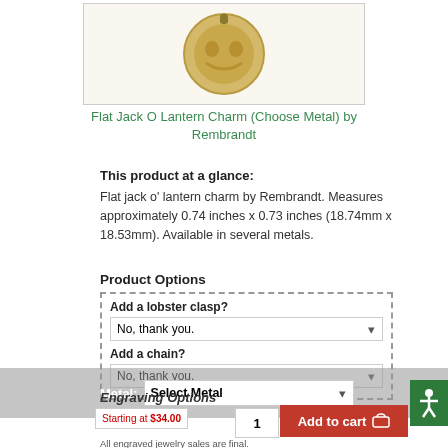[Figure (photo): Product image of a flat jack o lantern charm in gold metal, circular shape with jack-o-lantern face cutout]
Flat Jack O Lantern Charm (Choose Metal) by Rembrandt
This product at a glance:
Flat jack o' lantern charm by Rembrandt. Measures approximately 0.74 inches x 0.73 inches (18.74mm x 18.53mm). Available in several metals.
Product Options
Add a lobster clasp?
No, thank you.
Add a chain?
No, thank you.
Metal: Select Metal
Engraving Options
Starting at $34.00
1
Add to cart
All engraved jewelry sales are final.